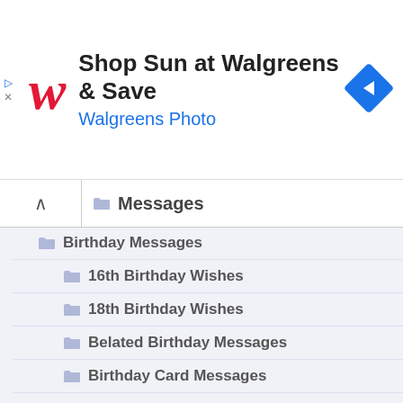[Figure (screenshot): Walgreens advertisement banner: red W logo, 'Shop Sun at Walgreens & Save', 'Walgreens Photo' in blue, blue diamond arrow icon on right, ad triangle and X icons on left]
Messages
Birthday Messages
16th Birthday Wishes
18th Birthday Wishes
Belated Birthday Messages
Birthday Card Messages
Birthday SMS
Boss Birthday Wishes
Boyfriend Birthday Messages
Brother Birthday Messages
Brother Birthday Sayings
Cards Birthday Sayings